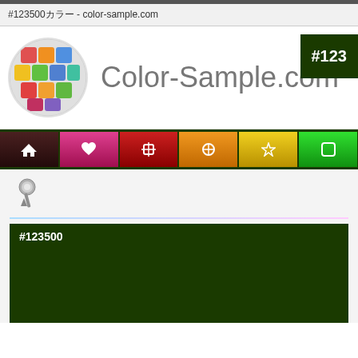#123500カラー - color-sample.com
[Figure (logo): Color-Sample.com logo: circular grid of colored squares (red, orange, yellow, green, blue, purple) forming a globe/grid pattern]
Color-Sample.com
#123
[Figure (infographic): Navigation bar with colored buttons: dark brown (home icon), pink/magenta (heart icon), red (icon), orange (icon), yellow (icon), green (icon)]
[Figure (illustration): Push pin / thumbtack icon in gray metallic style]
#123500
[Figure (infographic): Color swatch showing #123500 dark green color]